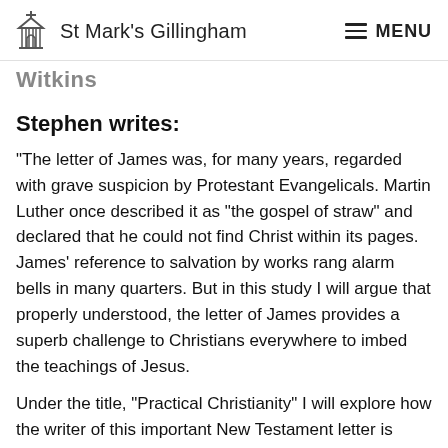St Mark's Gillingham  MENU
Witkins
Stephen writes:
“The letter of James was, for many years, regarded with grave suspicion by Protestant Evangelicals. Martin Luther once described it as “the gospel of straw” and declared that he could not find Christ within its pages.  James’ reference to salvation by works rang alarm bells in many quarters. But in this study I will argue that properly understood, the letter of James provides a superb challenge to Christians everywhere to imbed the teachings of Jesus.
Under the title, “Practical Christianity” I will explore how the writer of this important New Testament letter is deeply concerned that what Christians do is just as important as what they believe. In the letter of James,